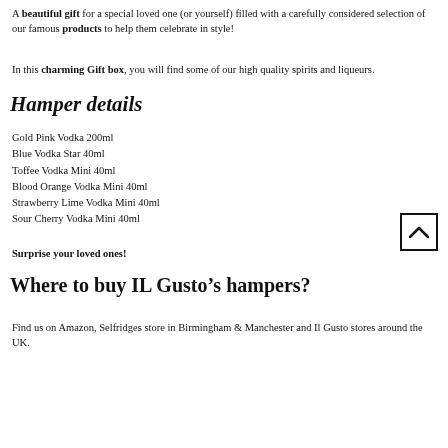A beautiful gift for a special loved one (or yourself) filled with a carefully considered selection of our famous products to help them celebrate in style!
In this charming Gift box, you will find some of our high quality spirits and liqueurs.
Hamper details
Gold Pink Vodka 200ml
Blue Vodka Star 40ml
Toffee Vodka Mini 40ml
Blood Orange Vodka Mini 40ml
Strawberry Lime Vodka Mini 40ml
Sour Cherry Vodka Mini 40ml
Surprise your loved ones!
Where to buy IL Gusto’s hampers?
Find us on Amazon, Selfridges store in Birmingham & Manchester and Il Gusto stores around the UK.